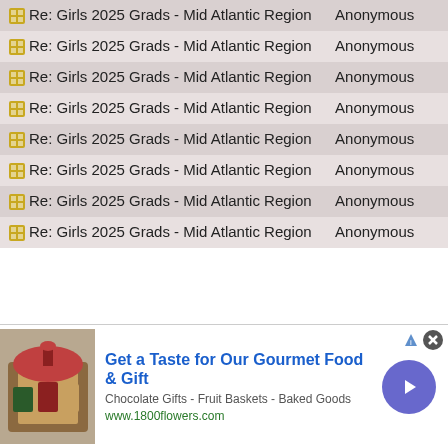| Topic | Author |
| --- | --- |
| Re: Girls 2025 Grads - Mid Atlantic Region | Anonymous |
| Re: Girls 2025 Grads - Mid Atlantic Region | Anonymous |
| Re: Girls 2025 Grads - Mid Atlantic Region | Anonymous |
| Re: Girls 2025 Grads - Mid Atlantic Region | Anonymous |
| Re: Girls 2025 Grads - Mid Atlantic Region | Anonymous |
| Re: Girls 2025 Grads - Mid Atlantic Region | Anonymous |
| Re: Girls 2025 Grads - Mid Atlantic Region | Anonymous |
| Re: Girls 2025 Grads - Mid Atlantic Region | Anonymous |
[Figure (infographic): Advertisement banner: Get a Taste for Our Gourmet Food & Gift. Chocolate Gifts - Fruit Baskets - Baked Goods. www.1800flowers.com. Shows gift basket image and navigation arrow.]